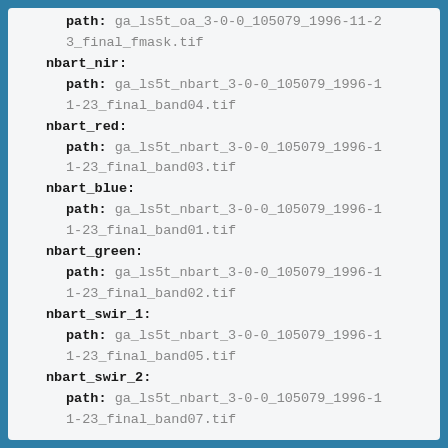path: ga_ls5t_oa_3-0-0_105079_1996-11-23_final_fmask.tif
nbart_nir:
  path: ga_ls5t_nbart_3-0-0_105079_1996-11-23_final_band04.tif
nbart_red:
  path: ga_ls5t_nbart_3-0-0_105079_1996-11-23_final_band03.tif
nbart_blue:
  path: ga_ls5t_nbart_3-0-0_105079_1996-11-23_final_band01.tif
nbart_green:
  path: ga_ls5t_nbart_3-0-0_105079_1996-11-23_final_band02.tif
nbart_swir_1:
  path: ga_ls5t_nbart_3-0-0_105079_1996-11-23_final_band05.tif
nbart_swir_2:
  path: ga_ls5t_nbart_3-0-0_105079_1996-11-23_final_band07.tif